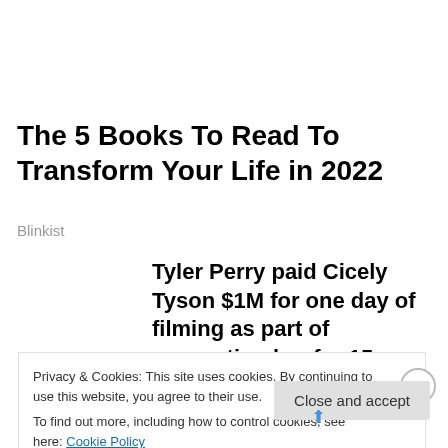The 5 Books To Read To Transform Your Life in 2022
Blinkist
Tyler Perry paid Cicely Tyson $1M for one day of filming as part of supporting her for 15...
The Grio
Privacy & Cookies: This site uses cookies. By continuing to use this website, you agree to their use.
To find out more, including how to control cookies, see here: Cookie Policy
Close and accept